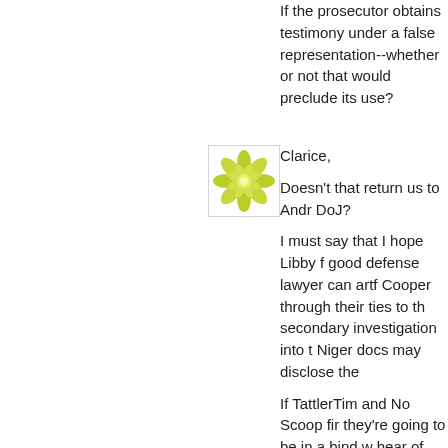If the prosecutor obtains testimony under a false representation--whether or not that would preclude its use?
[Figure (illustration): Square avatar icon with a green and yellow floral/snowflake decorative pattern on white background]
Clarice,

Doesnt that return us to Andr DoJ?

I must say that I hope Libby f good defense lawyer can artf Cooper through their ties to th secondary investigation into t Niger docs may disclose the

If TattlerTim and No Scoop fir they're going to be in a bind w hear of Mrs. Wilson's involvem Depend on the moles not hav the counterintel probe?

There is not much space bett place.